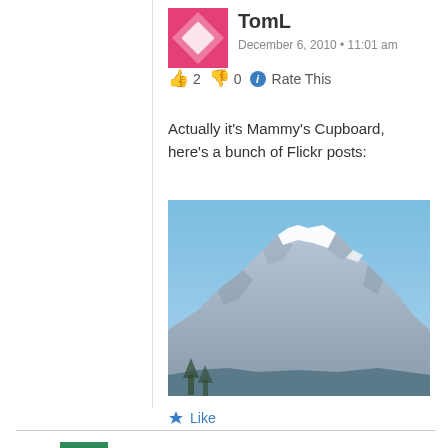[Figure (illustration): User avatar for TomL: pink/magenta diamond pattern icon]
TomL
December 6, 2010 • 11:01 am
👍 2 👎 0 ℹ Rate This
Actually it's Mammy's Cupboard, here's a bunch of Flickr posts:
[Figure (photo): Photograph of a snow-capped mountain range with clear blue sky, rocky peaks with white snow on top, some trees/vegetation at the bottom.]
★ Like
[Figure (illustration): User avatar for Fat Harry: green background with white arrow/play button pattern]
Fat Harry